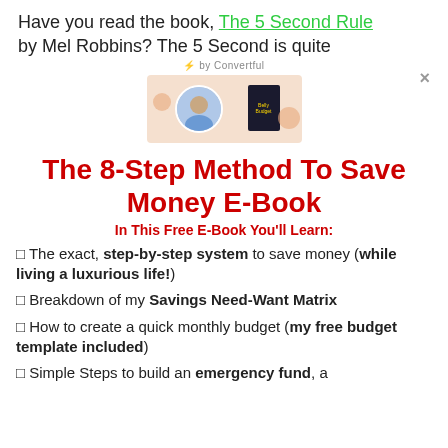Have you read the book, The 5 Second Rule by Mel Robbins? The 5 Second is quite
[Figure (photo): Promotional image showing a man in a blue shirt and a dark book cover on a peach/coral background]
The 8-Step Method To Save Money E-Book
In This Free E-Book You'll Learn:
🔲 The exact, step-by-step system to save money (while living a luxurious life!)
🔲 Breakdown of my Savings Need-Want Matrix
🔲 How to create a quick monthly budget (my free budget template included)
🔲 Simple Steps to build an emergency fund, a